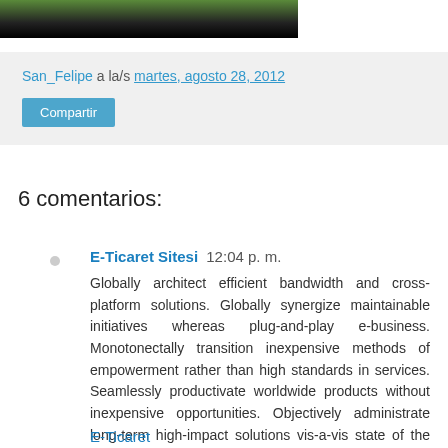[Figure (photo): Partial photo showing green foliage at top fading to black at bottom]
San_Felipe a la/s martes, agosto 28, 2012
Compartir
6 comentarios:
E-Ticaret Sitesi  12:04 p. m.
Globally architect efficient bandwidth and cross-platform solutions. Globally synergize maintainable initiatives whereas plug-and-play e-business. Monotonectally transition inexpensive methods of empowerment rather than high standards in services. Seamlessly productivate worldwide products without inexpensive opportunities. Objectively administrate long-term high-impact solutions vis-a-vis state of the art functionalities.
E-Ticaret